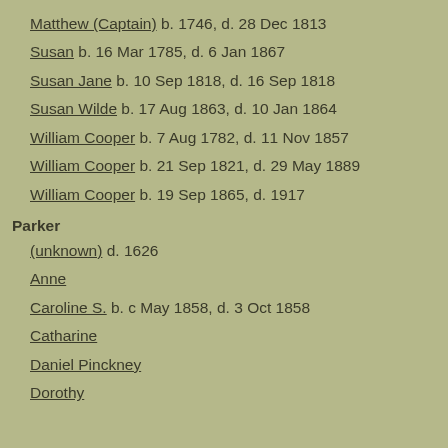Matthew (Captain)   b. 1746, d. 28 Dec 1813
Susan   b. 16 Mar 1785, d. 6 Jan 1867
Susan Jane   b. 10 Sep 1818, d. 16 Sep 1818
Susan Wilde   b. 17 Aug 1863, d. 10 Jan 1864
William Cooper   b. 7 Aug 1782, d. 11 Nov 1857
William Cooper   b. 21 Sep 1821, d. 29 May 1889
William Cooper   b. 19 Sep 1865, d. 1917
Parker
(unknown)   d. 1626
Anne
Caroline S.   b. c May 1858, d. 3 Oct 1858
Catharine
Daniel Pinckney
Dorothy